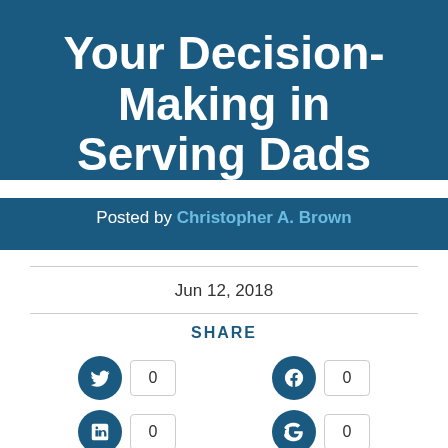Your Decision-Making in Serving Dads
Posted by Christopher A. Brown
Jun 12, 2018
SHARE
[Figure (infographic): Social share buttons: Twitter count 0, Facebook count 0, LinkedIn count 0, Google+ count 0]